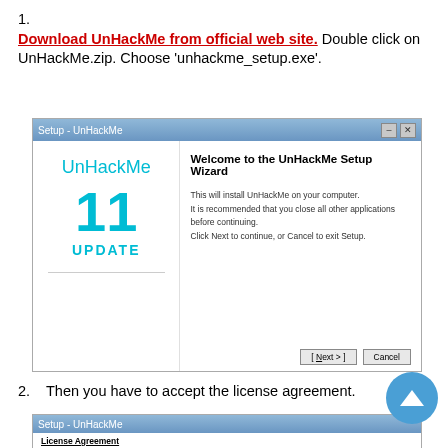Download UnHackMe from official web site. Double click on UnHackMe.zip. Choose 'unhackme_setup.exe'.
[Figure (screenshot): Setup - UnHackMe installer wizard window showing 'Welcome to the UnHackMe Setup Wizard' with UnHackMe logo, version 11, UPDATE text on left panel, and setup instructions on right panel with Next and Cancel buttons.]
Then you have to accept the license agreement.
[Figure (screenshot): Setup - UnHackMe second dialog showing License Agreement section.]